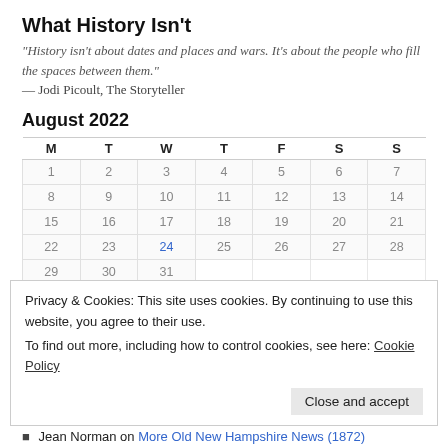What History Isn't
“History isn’t about dates and places and wars. It’s about the people who fill the spaces between them.”
— Jodi Picoult, The Storyteller
August 2022
| M | T | W | T | F | S | S |
| --- | --- | --- | --- | --- | --- | --- |
| 1 | 2 | 3 | 4 | 5 | 6 | 7 |
| 8 | 9 | 10 | 11 | 12 | 13 | 14 |
| 15 | 16 | 17 | 18 | 19 | 20 | 21 |
| 22 | 23 | 24 | 25 | 26 | 27 | 28 |
| 29 | 30 | 31 |  |  |  |  |
« Mar
Recent Comments
Privacy & Cookies: This site uses cookies. By continuing to use this website, you agree to their use.
To find out more, including how to control cookies, see here: Cookie Policy
Jean Norman on More Old New Hampshire News (1872)